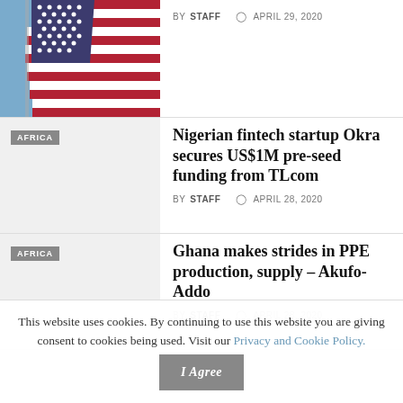[Figure (photo): American flag photo — partially visible at top of page]
BY STAFF  APRIL 29, 2020
[Figure (other): Gray placeholder thumbnail with AFRICA badge]
Nigerian fintech startup Okra secures US$1M pre-seed funding from TLcom
BY STAFF  APRIL 28, 2020
[Figure (other): Gray placeholder thumbnail with AFRICA badge]
Ghana makes strides in PPE production, supply – Akufo-Addo
BY STAFF  APRIL 28, 2020
This website uses cookies. By continuing to use this website you are giving consent to cookies being used. Visit our Privacy and Cookie Policy.